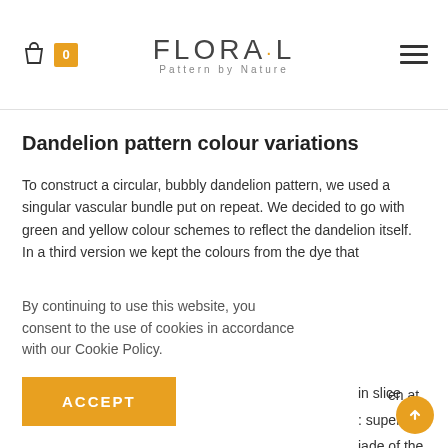FLORA·L Pattern by Nature — header with bag icon and menu
Dandelion pattern colour variations
To construct a circular, bubbly dandelion pattern, we used a singular vascular bundle put on repeat. We decided to go with green and yellow colour schemes to reflect the dandelion itself. In a third version we kept the colours from the dye that
By continuing to use this website, you consent to the use of cookies in accordance with our Cookie Policy.
ACCEPT